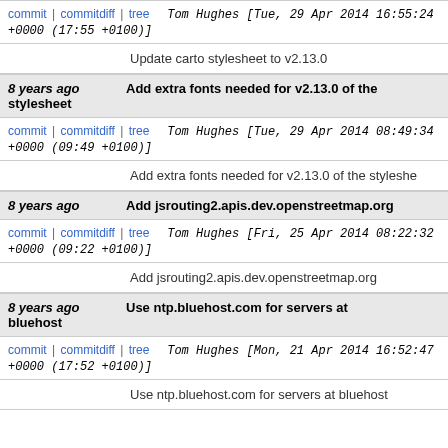commit | commitdiff | tree   Tom Hughes [Tue, 29 Apr 2014 16:55:24 +0000 (17:55 +0100)]
Update carto stylesheet to v2.13.0
8 years ago   Add extra fonts needed for v2.13.0 of the stylesheet
commit | commitdiff | tree   Tom Hughes [Tue, 29 Apr 2014 08:49:34 +0000 (09:49 +0100)]
Add extra fonts needed for v2.13.0 of the stylesheet
8 years ago   Add jsrouting2.apis.dev.openstreetmap.org
commit | commitdiff | tree   Tom Hughes [Fri, 25 Apr 2014 08:22:32 +0000 (09:22 +0100)]
Add jsrouting2.apis.dev.openstreetmap.org
8 years ago   Use ntp.bluehost.com for servers at bluehost
commit | commitdiff | tree   Tom Hughes [Mon, 21 Apr 2014 16:52:47 +0000 (17:52 +0100)]
Use ntp.bluehost.com for servers at bluehost